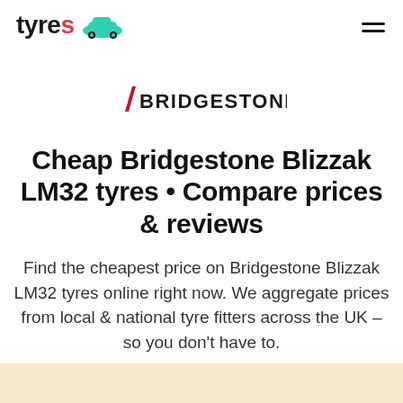tyres [car icon] [hamburger menu]
[Figure (logo): Bridgestone logo in red and black with stylized slash]
Cheap Bridgestone Blizzak LM32 tyres • Compare prices & reviews
Find the cheapest price on Bridgestone Blizzak LM32 tyres online right now. We aggregate prices from local & national tyre fitters across the UK – so you don't have to.